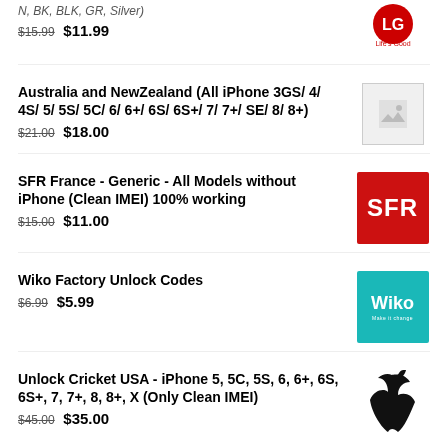N, BK, BLK, GR, Silver
$15.99  $11.99
[Figure (logo): LG logo with 'Life's Good' text]
Australia and NewZealand (All iPhone 3GS/ 4/ 4S/ 5/ 5S/ 5C/ 6/ 6+/ 6S/ 6S+/ 7/ 7+/ SE/ 8/ 8+)
$21.00  $18.00
[Figure (photo): Placeholder image (grey box with image icon)]
SFR France - Generic - All Models without iPhone (Clean IMEI) 100% working
$15.00  $11.00
[Figure (logo): SFR logo - red background with white SFR text]
Wiko Factory Unlock Codes
$6.99  $5.99
[Figure (logo): Wiko logo - teal background with white Wiko text]
Unlock Cricket USA - iPhone 5, 5C, 5S, 6, 6+, 6S, 6S+, 7, 7+, 8, 8+, X (Only Clean IMEI)
$45.00  $35.00
[Figure (logo): Apple logo - black apple silhouette]